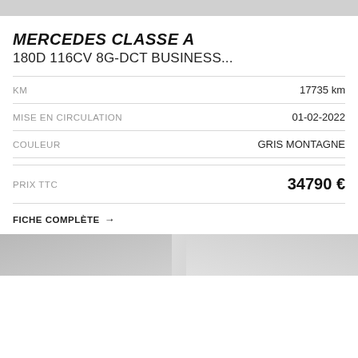[Figure (photo): Top gray image bar, partial vehicle photo]
MERCEDES CLASSE A
180D 116CV 8G-DCT BUSINESS...
| Label | Value |
| --- | --- |
| KM | 17735 km |
| MISE EN CIRCULATION | 01-02-2022 |
| COULEUR | GRIS MONTAGNE |
| PRIX TTC | 34790 € |
FICHE COMPLÈTE →
[Figure (photo): Bottom gray image bar, partial vehicle photo]